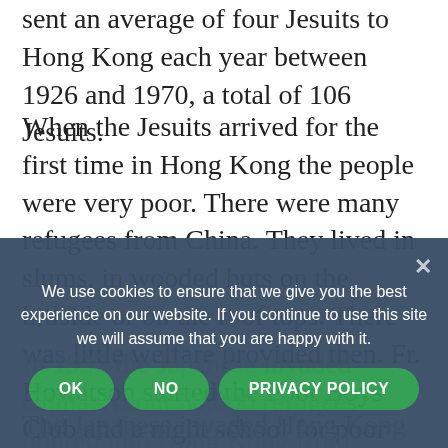sent an average of four Jesuits to Hong Kong each year between 1926 and 1970, a total of 106 Jesuits.
When the Jesuits arrived for the first time in Hong Kong the people were very poor. There were many refugees from China. They lived in slums, in wooded huts on the hillside or on the roof tops. There was little welfare provided then. Fr. Howatson started the Poor Boys Club and a night school for poor boys in 1946. this initiative developed over the years to become today “The Boys’ and Girls’ Club Association”.
In 1937 the Japanese invaded China. About 50,000 refugees poured into Hong Kong from China. Fr. Thomas Byrne organised the “Emergency Relief Association” and got the students of Wah Yan to help provide them with supplies and medical care.
The Japanese invaded Hong Kong in 1941. The British
We use cookies to ensure that we give you the best experience on our website. If you continue to use this site we will assume that you are happy with it.